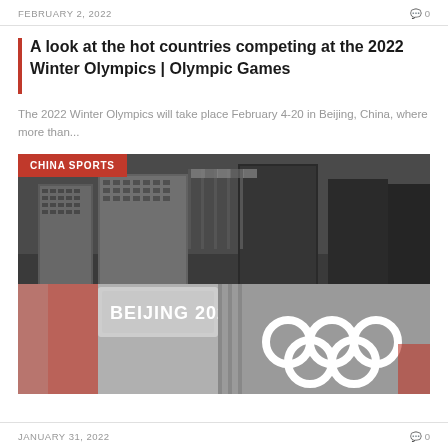FEBRUARY 2, 2022   Q0
A look at the hot countries competing at the 2022 Winter Olympics | Olympic Games
The 2022 Winter Olympics will take place February 4-20 in Beijing, China, where more than...
[Figure (photo): Black and white photo of buildings with flags, and Beijing 2022 Olympic rings signage in the foreground. Red 'CHINA SPORTS' badge overlay in top-left corner.]
JANUARY 31, 2022   Q0